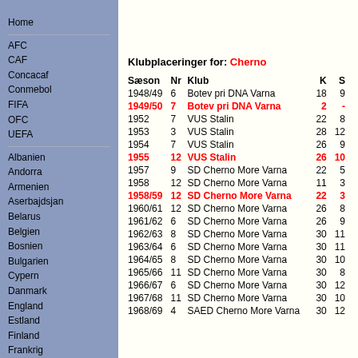Home
AFC
CAF
Concacaf
Conmebol
FIFA
OFC
UEFA
Albanien
Andorra
Armenien
Aserbajdsjan
Belarus
Belgien
Bosnien
Bulgarien
Cypern
Danmark
England
Estland
Finland
Frankrig
Klubplaceringer for: Cherno
| Sæson | Nr | Klub | K | S |
| --- | --- | --- | --- | --- |
| 1948/49 | 6 | Botev pri DNA Varna | 18 | 9 |
| 1949/50 | 7 | Botev pri DNA Varna | 2 | - |
| 1952 | 7 | VUS Stalin | 22 | 8 |
| 1953 | 3 | VUS Stalin | 28 | 12 |
| 1954 | 7 | VUS Stalin | 26 | 9 |
| 1955 | 12 | VUS Stalin | 26 | 10 |
| 1957 | 9 | SD Cherno More Varna | 22 | 5 |
| 1958 | 12 | SD Cherno More Varna | 11 | 3 |
| 1958/59 | 12 | SD Cherno More Varna | 22 | 3 |
| 1960/61 | 12 | SD Cherno More Varna | 26 | 8 |
| 1961/62 | 6 | SD Cherno More Varna | 26 | 9 |
| 1962/63 | 8 | SD Cherno More Varna | 30 | 11 |
| 1963/64 | 6 | SD Cherno More Varna | 30 | 11 |
| 1964/65 | 8 | SD Cherno More Varna | 30 | 10 |
| 1965/66 | 11 | SD Cherno More Varna | 30 | 8 |
| 1966/67 | 6 | SD Cherno More Varna | 30 | 12 |
| 1967/68 | 11 | SD Cherno More Varna | 30 | 10 |
| 1968/69 | 4 | SAED Cherno More Varna | 30 | 12 |